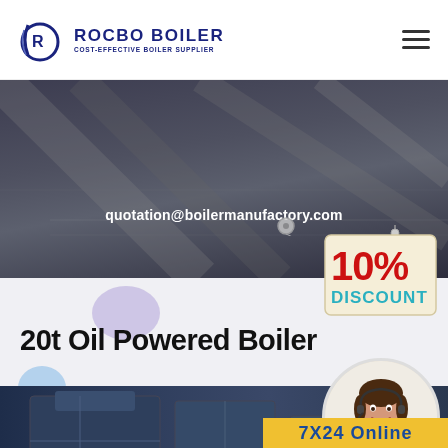[Figure (logo): Rocbo Boiler logo with circular icon and company name, subtitle: COST-EFFECTIVE BOILER SUPPLIER]
[Figure (photo): Dark industrial background hero banner with email quotation@boilermanufactory.com overlaid in white bold text]
quotation@boilermanufactory.com
[Figure (infographic): 10% DISCOUNT badge in cream/red/teal styling hanging on a string]
20t Oil Powered Boiler
[Figure (photo): Fangzuan branded industrial boiler equipment photo]
[Figure (photo): Customer service agent woman with headset, smiling, in circular frame]
7X24 Online